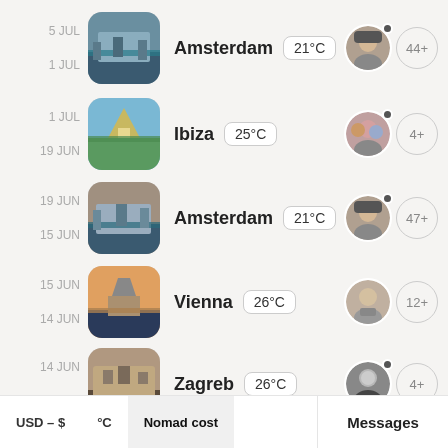5 JUL / 1 JUL — Amsterdam 21°C — 44+
1 JUL / 19 JUN — Ibiza 25°C — 4+
19 JUN / 15 JUN — Amsterdam 21°C — 47+
15 JUN / 14 JUN — Vienna 26°C — 12+
14 JUN / 13 JUN — Zagreb 26°C — 4+
Milan 28°C (partial)
USD – $   °C   Nomad cost   Messages